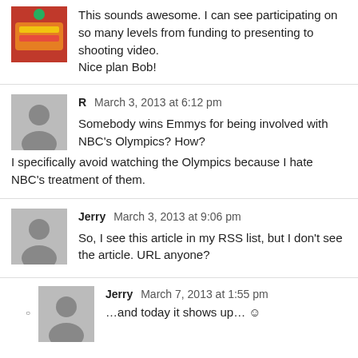This sounds awesome. I can see participating on so many levels from funding to presenting to shooting video.
Nice plan Bob!
R  March 3, 2013 at 6:12 pm
Somebody wins Emmys for being involved with NBC's Olympics? How?
I specifically avoid watching the Olympics because I hate NBC's treatment of them.
Jerry  March 3, 2013 at 9:06 pm
So, I see this article in my RSS list, but I don't see the article. URL anyone?
Jerry  March 7, 2013 at 1:55 pm
…and today it shows up…